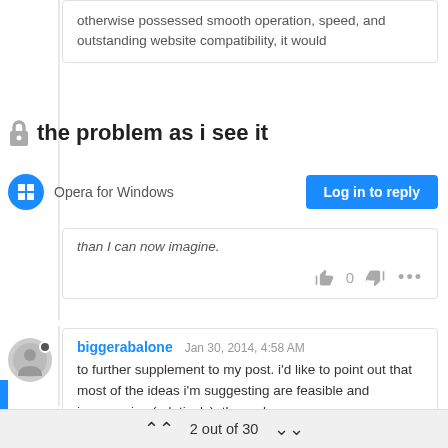otherwise possessed smooth operation, speed, and outstanding website compatibility, it would
the problem as i see it
Opera for Windows
Log in to reply
than I can now imagine.
biggerabalone  Jan 30, 2014, 4:58 AM
to further supplement to my post. i'd like to point out that most of the ideas i'm suggesting are feasible and inexpensive (relatively). the malware
2 out of 30